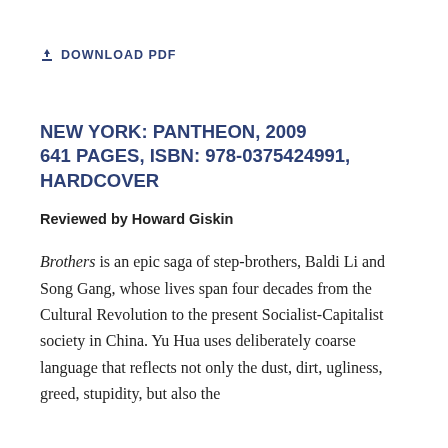⬇ DOWNLOAD PDF
NEW YORK: PANTHEON, 2009 641 PAGES, ISBN: 978-0375424991, HARDCOVER
Reviewed by Howard Giskin
Brothers is an epic saga of step-brothers, Baldi Li and Song Gang, whose lives span four decades from the Cultural Revolution to the present Socialist-Capitalist society in China. Yu Hua uses deliberately coarse language that reflects not only the dust, dirt, ugliness, greed, stupidity, but also the